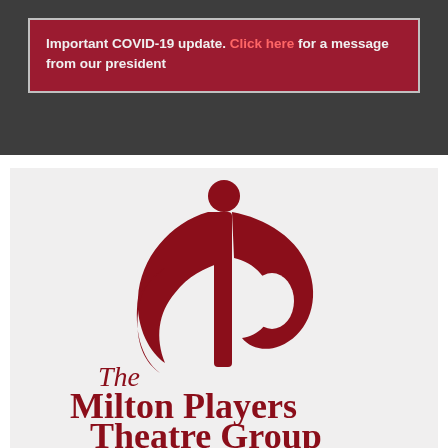Important COVID-19 update. Click here for a message from our president
[Figure (logo): The Milton Players Theatre Group logo: a dark red stylized human figure with arms raised forming an 'mp' shape, above serif text reading 'The Milton Players Theatre Group' in dark red.]